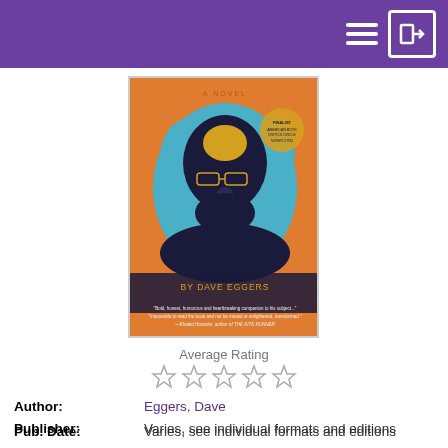Navigation bar with menu and login icons
[Figure (illustration): Book cover of a novel by Dave Eggers — orange background with blue paint splash and dark silhouette of a man wearing glasses, 'BY DAVE EGGERS' text at bottom, finalist medallion visible]
Average Rating
☆☆☆☆☆ (5 empty stars)
Author: Eggers, Dave
Publisher: Varies, see individual formats and editions
Pub. Date: Varies, see individual formats and editions
Language: English
Choose a Format
+ Book on CD
Show Edition
On Shelf
Tallyn's Reach
COMPACT DISC Eggers, D.
Place Hold